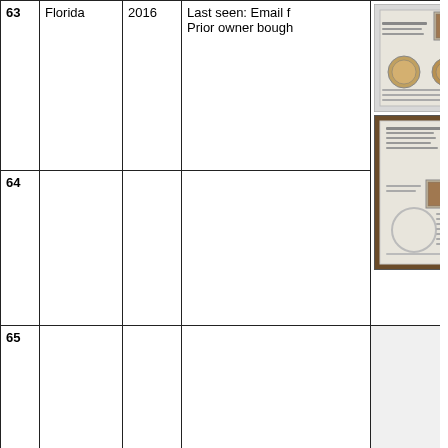| # | State | Year | Description | Image |  |
| --- | --- | --- | --- | --- | --- |
| 63 | Florida | 2016 | Last seen: Email f...
Prior owner bough... | [image] |  |
| 64 |  |  |  | [image] |  |
| 65 |  |  |  |  |  |
| 66 | California | 2013 | Last seen: Email f...
Schlag's sister. |  | ecedent |
[Figure (photo): Two framed coin/stamp display sets shown in row 63 image column]